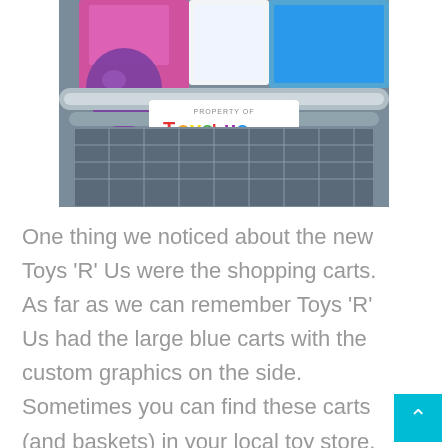[Figure (photo): A Toys 'R' Us branded shopping cart filled with colorful toy boxes and items. The cart handle has a white label reading 'Property of Toys R Us' with the iconic multicolored Toys R Us logo.]
One thing we noticed about the new Toys 'R' Us were the shopping carts. As far as we can remember Toys 'R' Us had the large blue carts with the custom graphics on the side. Sometimes you can find these carts (and baskets) in your local toy store. One store also in North Jersey, Rip 'N Run Collectibles, uses a classic blue cart as their